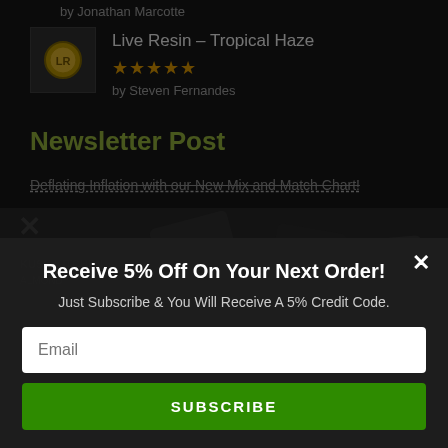by Jonathan Marcotte
Live Resin – Tropical Haze
★★★★★
by Steven Fernandes
Newsletter Post
Deflating Inflation with our New Mix and Match Chart!
Receive 5% Off On Your Next Order!
Just Subscribe & You Will Receive A 5% Credit Code.
Email
SUBSCRIBE